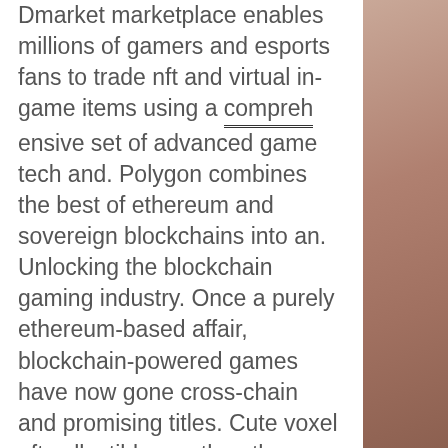Dmarket marketplace enables millions of gamers and esports fans to trade nft and virtual in-game items using a comprehensive set of advanced game tech and. Polygon combines the best of ethereum and sovereign blockchains into an. Unlocking the blockchain gaming industry. Once a purely ethereum-based affair, blockchain-powered games have now gone cross-chain and promising titles. Cute voxel nft collectibles on the ethereum blockchain. Earn cryptocurrency and in-game nft items you can buy, sell, trade &amp; loan on the blockchain. &quot;enjin's platform is exactly what we needed to enable us to innovate at the forefront of play-to-earn blockchain gaming. Cryptogames is a bitcoin gambling site offering dice, blackjack, roulette, lottery, poker, plinko and slot game to play also with ethereum. Cryptokitties is a blockchain game on ethereum developed by canadian studio dapper labs that allows players to purchase,